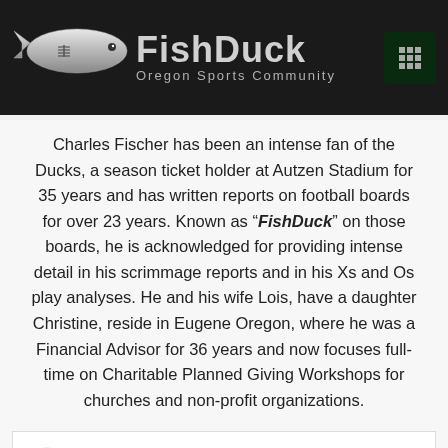FishDuck Oregon Sports Community
Charles Fischer has been an intense fan of the Ducks, a season ticket holder at Autzen Stadium for 35 years and has written reports on football boards for over 23 years. Known as “FishDuck” on those boards, he is acknowledged for providing intense detail in his scrimmage reports and in his Xs and Os play analyses. He and his wife Lois, have a daughter Christine, reside in Eugene Oregon, where he was a Financial Advisor for 36 years and now focuses full-time on Charitable Planned Giving Workshops for churches and non-profit organizations.
[Figure (infographic): Advertisement banner: Award-Winning Customer Service, CoinFlip Bitcoin ATM, with logo and navigation icon]